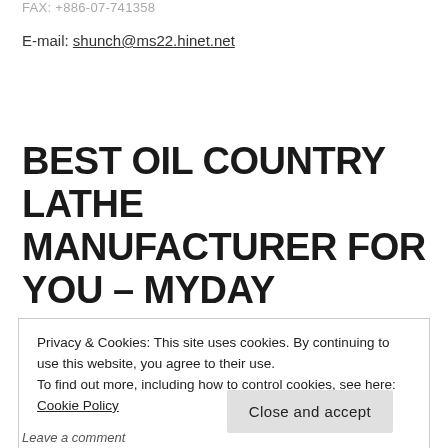FAX: +886-07-741358
E-mail: shunch@ms22.hinet.net
BEST OIL COUNTRY LATHE MANUFACTURER FOR YOU – MYDAY MACHINERY
Privacy & Cookies: This site uses cookies. By continuing to use this website, you agree to their use.
To find out more, including how to control cookies, see here: Cookie Policy
Leave a comment